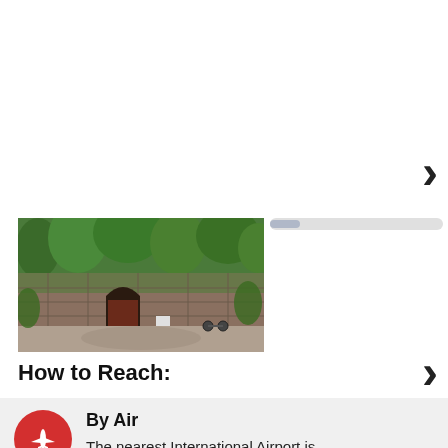[Figure (other): Right-pointing chevron navigation arrow, large dark gray, upper right area]
[Figure (photo): Photograph of an old stone fort or ruin gateway covered in green moss and vines, with trees in background and a dirt path, appears to be a historical Indian fort]
[Figure (other): Horizontal scrollbar UI element]
[Figure (other): Right-pointing chevron navigation arrow, large dark gray, mid-right area]
How to Reach:
By Air
The nearest International Airport is Chhatrapati Shivaji International Airport